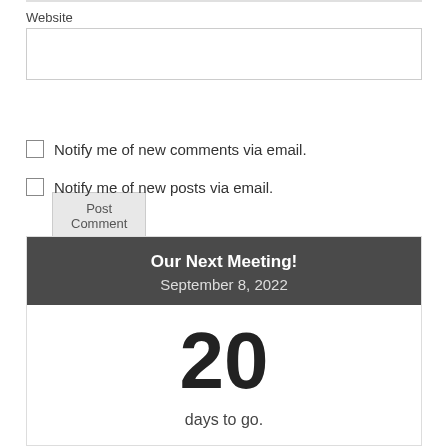Website
[Figure (screenshot): Website input text field (empty)]
[Figure (screenshot): Post Comment button]
Notify me of new comments via email.
Notify me of new posts via email.
Our Next Meeting!
September 8, 2022
20
days to go.